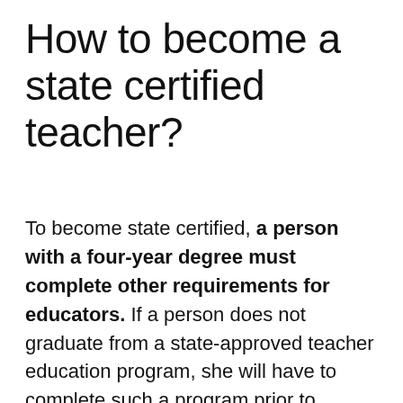How to become a state certified teacher?
To become state certified, a person with a four-year degree must complete other requirements for educators. If a person does not graduate from a state-approved teacher education program, she will have to complete such a program prior to certification or while completing certification requirements. Many states offer alternative certification ...